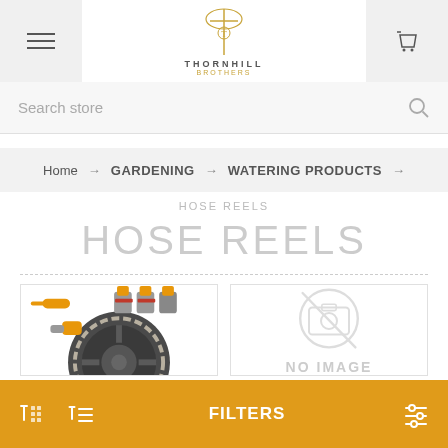Thornhill Brothers - navigation header with menu and cart
Search store
Home → GARDENING → WATERING PRODUCTS →
HOSE REELS
HOSE REELS
[Figure (photo): Hose reel product with orange/yellow fittings and connectors]
[Figure (other): No image placeholder with crossed-out camera icon and text NO IMAGE]
FILTERS